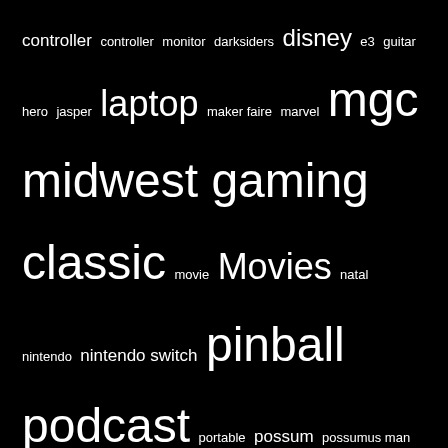controller controller monitor darksiders disney e3 guitar hero jasper laptop maker faire marvel mgc midwest gaming classic movie Movies natal nintendo nintendo switch pinball podcast portable possum possumus man ps3 ps3 slim sony star wars thq tomb raider Video Games wii wonder woman xbox xbox 360 youtube
CONTENT CONTROLS
Log in
Entries feed